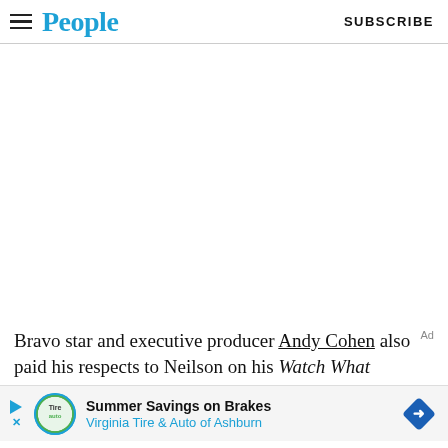People  SUBSCRIBE
[Figure (photo): Large image area (white/blank) occupying the main body of the page]
Bravo star and executive producer Andy Cohen also paid his respects to Neilson on his Watch What
[Figure (infographic): Advertisement banner: Summer Savings on Brakes — Virginia Tire & Auto of Ashburn]